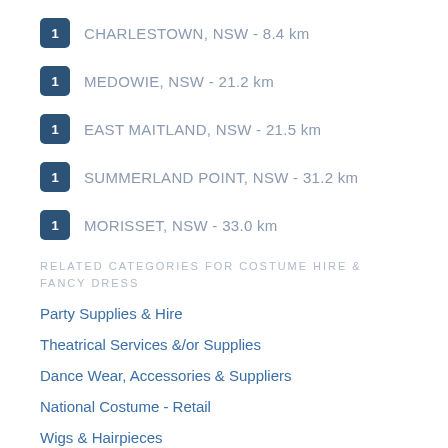1 CHARLESTOWN, NSW - 8.4 km
1 MEDOWIE, NSW - 21.2 km
1 EAST MAITLAND, NSW - 21.5 km
1 SUMMERLAND POINT, NSW - 31.2 km
1 MORISSET, NSW - 33.0 km
RELATED CATEGORIES FOR COSTUME HIRE & FANCY DRESS
Party Supplies & Hire
Theatrical Services &/or Supplies
Dance Wear, Accessories & Suppliers
National Costume - Retail
Wigs & Hairpieces